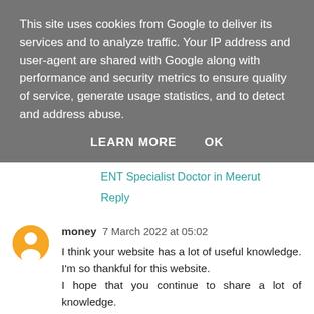This site uses cookies from Google to deliver its services and to analyze traffic. Your IP address and user-agent are shared with Google along with performance and security metrics to ensure quality of service, generate usage statistics, and to detect and address abuse.
LEARN MORE    OK
ENT Specialist Doctor in Meerut
Reply
money 7 March 2022 at 05:02
I think your website has a lot of useful knowledge. I'm so thankful for this website.
I hope that you continue to share a lot of knowledge.
This is my website.
머니
Reply